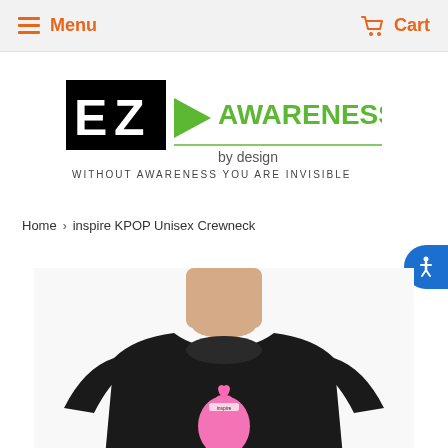Menu  Cart
[Figure (logo): EZ Awareness by design logo with tagline: WITHOUT AWARENESS YOU ARE INVISIBLE]
Home › inspire KPOP Unisex Crewneck
[Figure (photo): Man wearing a black crewneck sweatshirt with a KPOP heart hand gesture graphic printed on the chest]